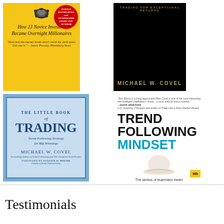[Figure (illustration): Grid of four book covers: (1) Top-left: orange/yellow book 'How 23 Novice Investors Became Overnight Millionaires' with turtle icon and red badge, (2) Top-right: black book 'Trading for Exceptional Returns' by Michael W. Covel, (3) Bottom-left: blue book 'The Little Book of Trading - Trend Following Strategy for Big Winnings' by Michael W. Covel, Foreword by Cullen O. Roche, (4) Bottom-right: white book 'Trend Following Mindset' by Michael W. Covel featuring Tom Basso]
Testimonials